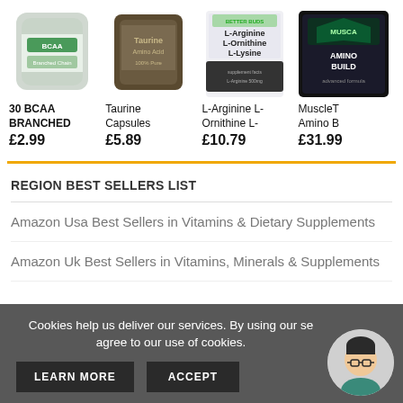[Figure (illustration): Product image of 30 BCAA Branched supplement in a silver/green pouch]
30 BCAA BRANCHED
£2.99
[Figure (illustration): Product image of Taurine Capsules in a dark brown/green pouch]
Taurine Capsules
£5.89
[Figure (illustration): Product image of L-Arginine L-Ornithine L-Lysine supplement]
L-Arginine L-Ornithine L-
£10.79
[Figure (illustration): Product image of MuscleTech Amino Build in a dark black container]
MuscleT Amino B
£31.99
REGION BEST SELLERS LIST
Amazon Usa Best Sellers in Vitamins & Dietary Supplements
Amazon Uk Best Sellers in Vitamins, Minerals & Supplements
Cookies help us deliver our services. By using our se... agree to our use of cookies.
LEARN MORE    ACCEPT